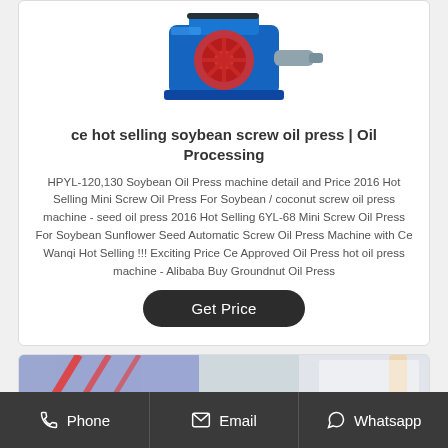[Figure (photo): Blue soybean screw oil press machine with red pulley/wheel detail, shown from an angle on white background]
ce hot selling soybean screw oil press | Oil Processing
HPYL-120,130 Soybean Oil Press machine detail and Price 2016 Hot Selling Mini Screw Oil Press For Soybean / coconut screw oil press machine - seed oil press 2016 Hot Selling 6YL-68 Mini Screw Oil Press For Soybean Sunflower Seed Automatic Screw Oil Press Machine with Ce Wanqi Hot Selling !!! Exciting Price Ce Approved Oil Press hot oil press machine - Alibaba Buy Groundnut Oil Press
Get Price
[Figure (photo): Interior of an oil processing facility showing industrial equipment, blue and yellow pipes/structures]
Phone   Email   Whatsapp